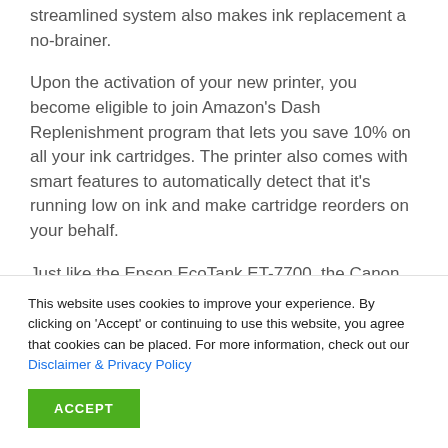streamlined system also makes ink replacement a no-brainer.
Upon the activation of your new printer, you become eligible to join Amazon's Dash Replenishment program that lets you save 10% on all your ink cartridges. The printer also comes with smart features to automatically detect that it’s running low on ink and make cartridge reorders on your behalf.
Just like the Epson EcoTank ET-7700, the Canon...
This website uses cookies to improve your experience. By clicking on 'Accept' or continuing to use this website, you agree that cookies can be placed. For more information, check out our Disclaimer & Privacy Policy
ACCEPT